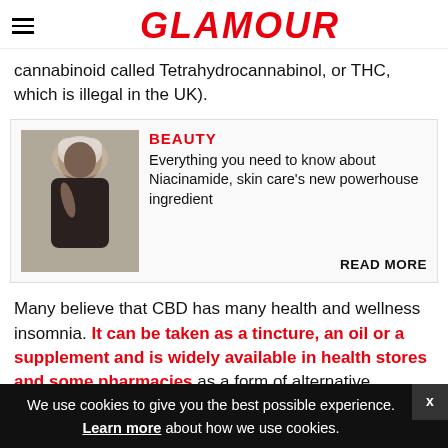GLAMOUR
cannabinoid called Tetrahydrocannabinol, or THC, which is illegal in the UK).
[Figure (other): Promo card with image of a woman applying skincare, category label BEAUTY, article title 'Everything you need to know about Niacinamide, skin care's new powerhouse ingredient', with READ MORE link]
Many believe that CBD has many health and wellness
insomnia. It can be taken as a tincture, an oil or a supplement and is widely available in health stores and some pharmacies as a form of alternative medicine.
We use cookies to give you the best possible experience. Learn more about how we use cookies.